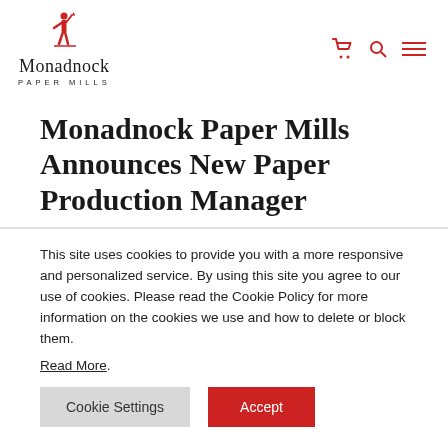[Figure (logo): Monadnock Paper Mills logo with red figure/warrior icon above the text 'Monadnock' in serif font and 'PAPER MILLS' in small caps below]
Monadnock Paper Mills Announces New Paper Production Manager
This site uses cookies to provide you with a more responsive and personalized service. By using this site you agree to our use of cookies. Please read the Cookie Policy for more information on the cookies we use and how to delete or block them.
Read More.
Cookie Settings   Accept